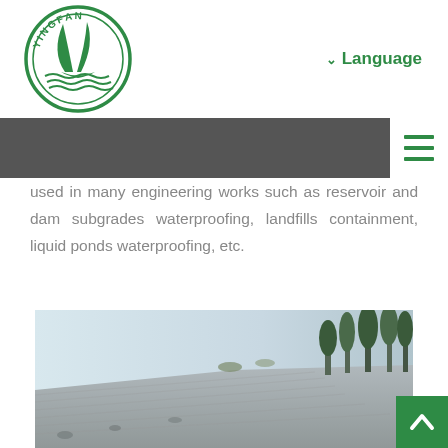[Figure (logo): Yingfan company logo: green circle with sailboat and waves, text YINGFAN around top]
Language
[Figure (screenshot): Dark navigation bar with white hamburger menu icon (three green horizontal lines) on the right side]
used in many engineering works such as reservoir and dam subgrades waterproofing, landfills containment, liquid ponds waterproofing, etc.
[Figure (photo): Outdoor engineering photo showing a sloped embankment covered with gray geomembrane material, with trees and hazy sky in the background]